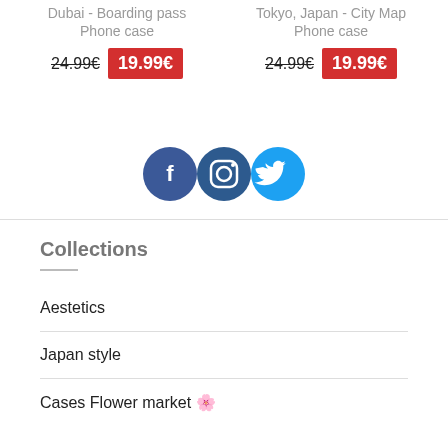Dubai - Boarding pass Phone case
24.99€  19.99€
Tokyo, Japan - City Map Phone case
24.99€  19.99€
[Figure (illustration): Social media icons: Facebook, Instagram, Twitter]
Collections
Aestetics
Japan style
Cases Flower market 🌸